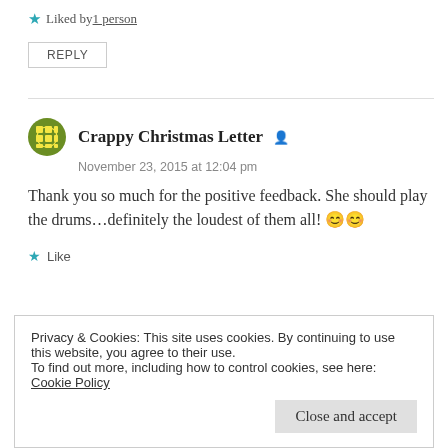★ Liked by 1 person
REPLY
Crappy Christmas Letter
November 23, 2015 at 12:04 pm
Thank you so much for the positive feedback. She should play the drums...definitely the loudest of them all! 😊😊
★ Like
Privacy & Cookies: This site uses cookies. By continuing to use this website, you agree to their use.
To find out more, including how to control cookies, see here: Cookie Policy
Close and accept